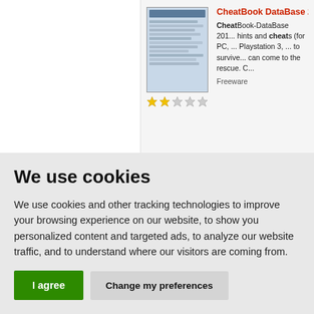[Figure (screenshot): Partial screenshot of a software listing page showing CheatBook DataBase product with thumbnail image and star rating]
CheatBook DataBase 20...
CheatBook-DataBase 201... hints and cheats (for PC, ... Playstation 3, ... to survive... can come to the rescue. C...
Freeware
We use cookies
We use cookies and other tracking technologies to improve your browsing experience on our website, to show you personalized content and targeted ads, to analyze our website traffic, and to understand where our visitors are coming from.